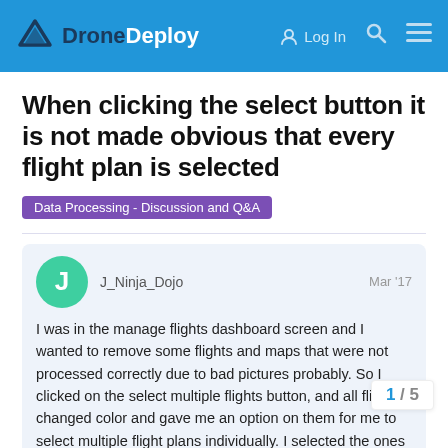DroneDeploy — Log In
When clicking the select button it is not made obvious that every flight plan is selected
Data Processing - Discussion and Q&A
J_Ninja_Dojo   Mar '17
I was in the manage flights dashboard screen and I wanted to remove some flights and maps that were not processed correctly due to bad pictures probably. So I clicked on the select multiple flights button, and all flights changed color and gave me an option on them for me to select multiple flight plans individually. I selected the ones I wanted deleted, and clicked delete. Low and behold, it deleted all the ones I wanted to keep Flight Me. It kept all the ones I wanted to d... more obvious when selecting multiple fligh...
1 / 5